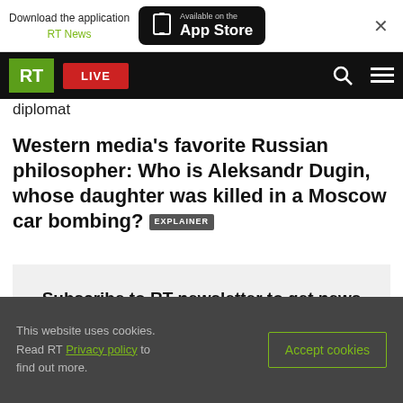Download the application RT News | Available on the App Store
RT LIVE
diplomat
Western media's favorite Russian philosopher: Who is Aleksandr Dugin, whose daughter was killed in a Moscow car bombing? EXPLAINER
Subscribe to RT newsletter to get news highlights of the day right in your mailbox
This website uses cookies. Read RT Privacy policy to find out more.